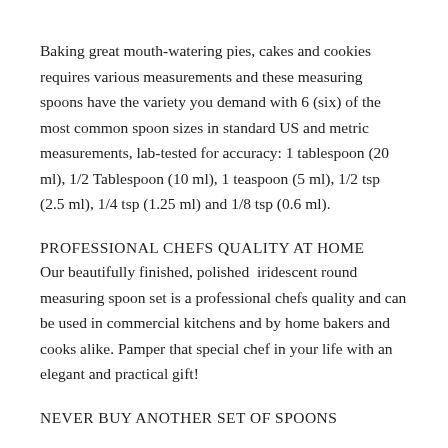Baking great mouth-watering pies, cakes and cookies requires various measurements and these measuring spoons have the variety you demand with 6 (six) of the most common spoon sizes in standard US and metric measurements, lab-tested for accuracy: 1 tablespoon (20 ml), 1/2 Tablespoon (10 ml), 1 teaspoon (5 ml), 1/2 tsp (2.5 ml), 1/4 tsp (1.25 ml) and 1/8 tsp (0.6 ml).
PROFESSIONAL CHEFS QUALITY AT HOME
Our beautifully finished, polished iridescent round measuring spoon set is a professional chefs quality and can be used in commercial kitchens and by home bakers and cooks alike. Pamper that special chef in your life with an elegant and practical gift!
NEVER BUY ANOTHER SET OF SPOONS